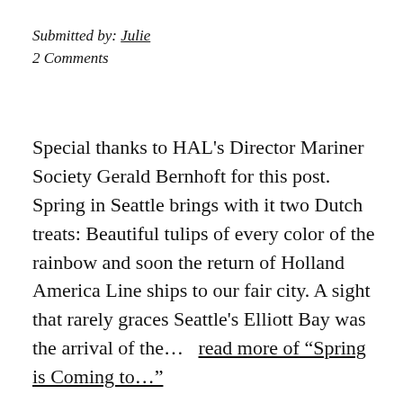Submitted by: Julie
2 Comments
Special thanks to HAL's Director Mariner Society Gerald Bernhoft for this post. Spring in Seattle brings with it two Dutch treats: Beautiful tulips of every color of the rainbow and soon the return of Holland America Line ships to our fair city. A sight that rarely graces Seattle's Elliott Bay was the arrival of the…  read more of “Spring is Coming to…”